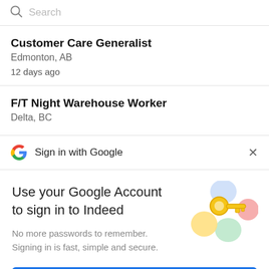Search
Customer Care Generalist
Edmonton, AB
12 days ago
F/T Night Warehouse Worker
Delta, BC
Sign in with Google
Use your Google Account to sign in to Indeed
No more passwords to remember. Signing in is fast, simple and secure.
[Figure (illustration): Illustration of a golden key with colorful circular shapes in blue, yellow, green, and red, representing Google account security.]
Continue